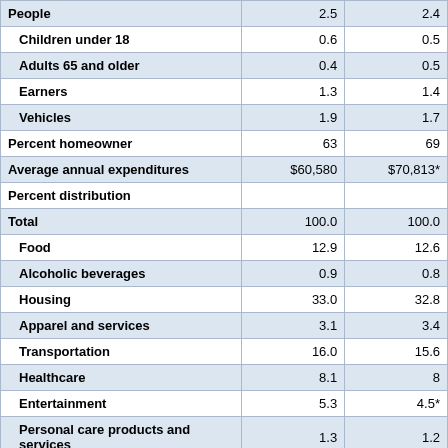|  | Col1 | Col2 |
| --- | --- | --- |
| People | 2.5 | 2.4 |
| Children under 18 | 0.6 | 0.5 |
| Adults 65 and older | 0.4 | 0.5 |
| Earners | 1.3 | 1.4 |
| Vehicles | 1.9 | 1.7 |
| Percent homeowner | 63 | 69 |
| Average annual expenditures | $60,580 | $70,813* |
| Percent distribution |  |  |
| Total | 100.0 | 100.0 |
| Food | 12.9 | 12.6 |
| Alcoholic beverages | 0.9 | 0.8 |
| Housing | 33.0 | 32.8 |
| Apparel and services | 3.1 | 3.4 |
| Transportation | 16.0 | 15.6 |
| Healthcare | 8.1 | 8 |
| Entertainment | 5.3 | 4.5* |
| Personal care products and services | 1.3 | 1.2 |